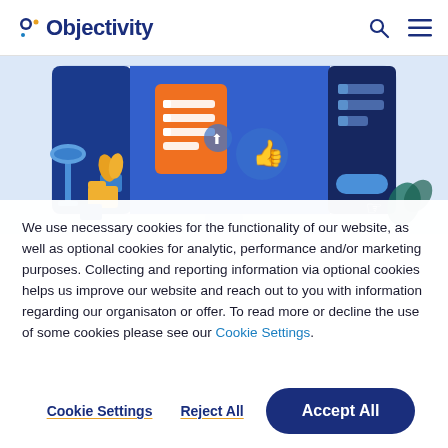Objectivity
[Figure (illustration): Illustration of a digital interface/UI with blue and orange design elements, showing a monitor-like screen with UI components including a lamp, plant, orange checklist panel, thumbs up icon, and a dark blue sidebar with menu items.]
We use necessary cookies for the functionality of our website, as well as optional cookies for analytic, performance and/or marketing purposes. Collecting and reporting information via optional cookies helps us improve our website and reach out to you with information regarding our organisaton or offer. To read more or decline the use of some cookies please see our Cookie Settings.